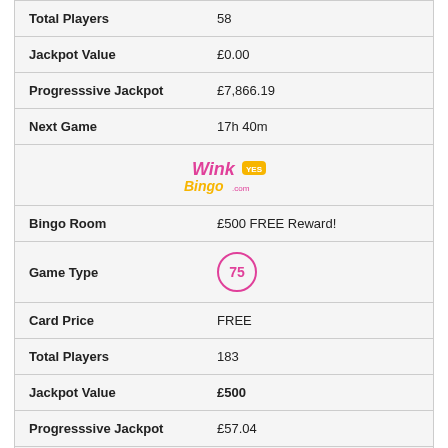| Total Players | 58 |
| Jackpot Value | £0.00 |
| Progresssive Jackpot | £7,866.19 |
| Next Game | 17h 40m |
| [WinkBingo logo] |  |
| Bingo Room | £500 FREE Reward! |
| Game Type | 75 |
| Card Price | FREE |
| Total Players | 183 |
| Jackpot Value | £500 |
| Progresssive Jackpot | £57.04 |
| Next Game | 18h 25m |
| [WinkBingo logo] |  |